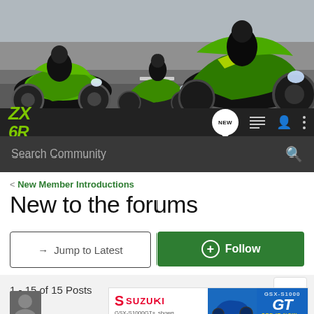[Figure (photo): Banner showing three Kawasaki ZX-6R motorcycles on a racetrack, with green and black color scheme]
ZX6R — NEW | List | User | Menu
Search Community
< New Member Introductions
New to the forums
→ Jump to Latest
+ Follow
1 - 15 of 15 Posts
[Figure (photo): Suzuki GSX-S1000GT advertisement banner. Shows Suzuki logo in red, GSX-S1000GT+ shown text, motorcycle photo, and GT See It Now callout on blue background]